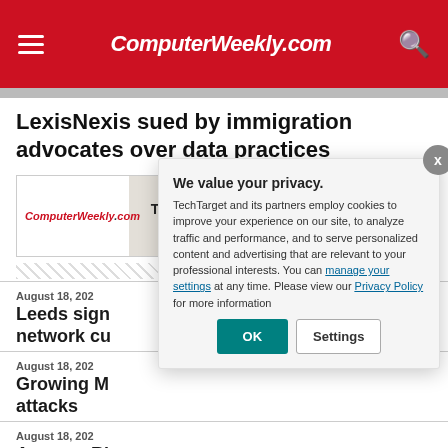ComputerWeekly.com
LexisNexis sued by immigration advocates over data practices
[Figure (screenshot): ComputerWeekly.com advertisement banner for 'The Subpostmasters vs' article with Read more here button]
August 18, 202
Leeds sign network cu
August 18, 202
Growing M attacks
August 18, 202
Amazon Ri used to spy
We value your privacy.
TechTarget and its partners employ cookies to improve your experience on our site, to analyze traffic and performance, and to serve personalized content and advertising that are relevant to your professional interests. You can manage your settings at any time. Please view our Privacy Policy for more information